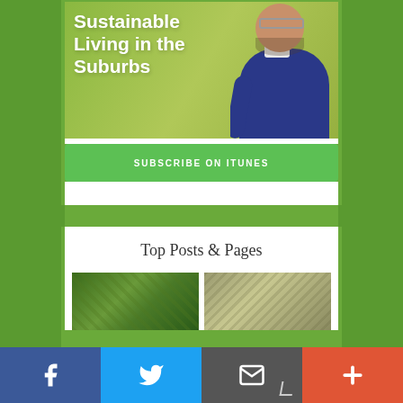[Figure (illustration): Podcast banner with green gradient background showing a man smiling in a dark sweater and white collar shirt, with bold white text reading 'Sustainable Living in the Suburbs']
SUBSCRIBE ON ITUNES
Top Posts & Pages
[Figure (photo): Two thumbnail images side by side showing plants/foliage]
[Figure (infographic): Social sharing bar at bottom with Facebook (blue), Twitter (light blue), email (dark gray), and plus/more (orange-red) buttons]